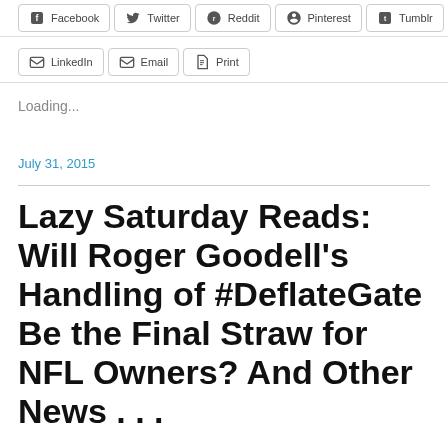Facebook  Twitter  Reddit  Pinterest  Tumblr
LinkedIn  Email  Print
Loading...
July 31, 2015
Lazy Saturday Reads: Will Roger Goodell’s Handling of #DeflateGate Be the Final Straw for NFL Owners? And Other News . . .